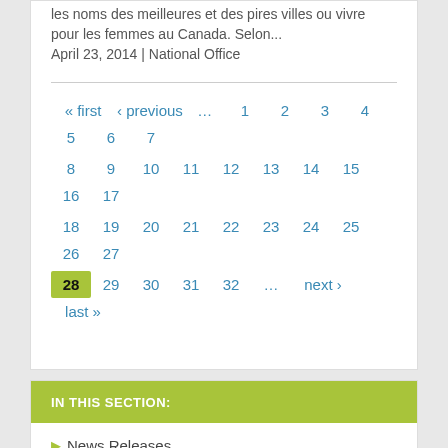les noms des meilleures et des pires villes ou vivre pour les femmes au Canada. Selon...
April 23, 2014 | National Office
« first ‹ previous … 1 2 3 4 5 6 7 8 9 10 11 12 13 14 15 16 17 18 19 20 21 22 23 24 25 26 27 28 29 30 31 32 … next › last »
IN THIS SECTION:
News Releases
Updates
Media Inquiries